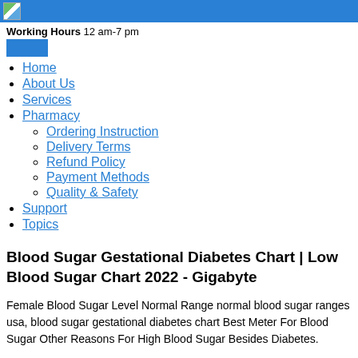Working Hours 12 am-7 pm
Home
About Us
Services
Pharmacy
Ordering Instruction
Delivery Terms
Refund Policy
Payment Methods
Quality & Safety
Support
Topics
Blood Sugar Gestational Diabetes Chart | Low Blood Sugar Chart 2022 - Gigabyte
Female Blood Sugar Level Normal Range normal blood sugar ranges usa, blood sugar gestational diabetes chart Best Meter For Blood Sugar Other Reasons For High Blood Sugar Besides Diabetes.